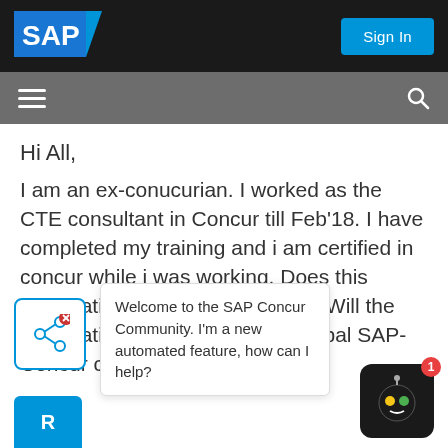[Figure (logo): SAP logo in white on dark background with blue triangle accent]
[Figure (screenshot): Sign In button in blue]
[Figure (screenshot): Gray navigation bar with hamburger menu icon on left and search icon on right]
Hi All,
I am an ex-conucurian. I worked as the CTE consultant in Concur till Feb'18. I have completed my training and i am certified in concur while i was working. Does this certification is valid throught out. Will the certification will be valid as a Global SAP-Concur certified?
[Figure (screenshot): Share icon in blue outlined box with X close button overlay]
Welcome to the SAP Concur Community. I'm a new automated feature, how can I help?
[Figure (screenshot): Chatbot robot icon on dark background with notification badge showing 1]